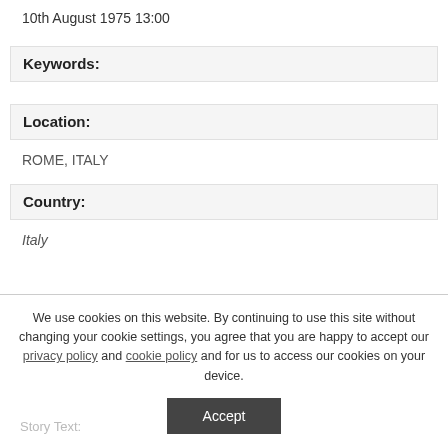10th August 1975 13:00
Keywords:
Location:
ROME, ITALY
Country:
Italy
We use cookies on this website. By continuing to use this site without changing your cookie settings, you agree that you are happy to accept our privacy policy and cookie policy and for us to access our cookies on your device.
Story Text: